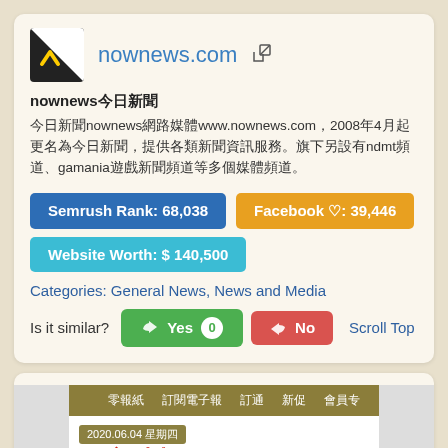nownews.com
nownews今日新聞
今日新聞nownews網路媒體www.nownews.com，2008年4月起更名為今日新聞，提供各類新聞資訊服務。旗下另設有ndmt頻道、gamania遊戲新聞頻道等多個媒體頻道。
Semrush Rank: 68,038
Facebook ♡: 39,446
Website Worth: $ 140,500
Categories: General News, News and Media
Is it similar? Yes 0 No Scroll Top
[Figure (screenshot): Screenshot of Commercial Times (工商時報) website showing navigation bar and masthead with date 2020.06.04]